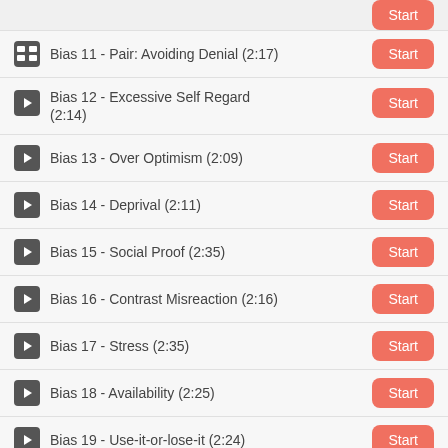Bias 11 - Pair: Avoiding Denial (2:17)
Bias 12 - Excessive Self Regard (2:14)
Bias 13 - Over Optimism (2:09)
Bias 14 - Deprival (2:11)
Bias 15 - Social Proof (2:35)
Bias 16 - Contrast Misreaction (2:16)
Bias 17 - Stress (2:35)
Bias 18 - Availability (2:25)
Bias 19 - Use-it-or-lose-it (2:24)